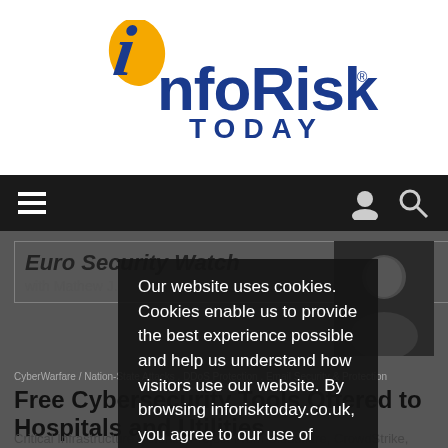[Figure (logo): InfoRisk Today logo with gold italic 'i' and blue 'nfoRisk TODAY' text]
[Figure (screenshot): Dark navigation bar with hamburger menu icon on left and user/search icons on right]
Euro Security Watch
with Mathew J. Schwartz
[Figure (photo): Headshot of Mathew J. Schwartz in dark lighting]
CyberWarfare / Nation-State Attacks , DDoS Protection , Email Security & Protection
Free Cybersecurity Tools Offered to Hospitals and Utilities
Critical Infrastructure Defense Project From Cloudflare, CrowdStrike, Ping Identity
[Figure (screenshot): Cookie consent overlay popup with text: Our website uses cookies. Cookies enable us to provide the best experience possible and help us understand how visitors use our website. By browsing inforisktoday.co.uk, you agree to our use of cookies.]